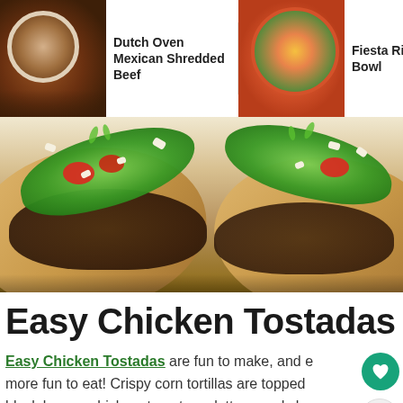[Figure (photo): Navigation strip with thumbnails: Dutch Oven Mexican Shredded Beef, Fiesta Rice Bowl, Skillet Mexican Street Corn]
[Figure (photo): Hero image of Easy Chicken Tostadas — crispy corn tortillas topped with black beans, chicken, lettuce, tomatoes, and crumbled cheese on a baking sheet]
Easy Chicken Tostadas
Easy Chicken Tostadas are fun to make, and even more fun to eat! Crispy corn tortillas are topped with black beans, chicken, tomatoes, lettuce and cheese for a
[Figure (photo): Advertisement banner: young man with quote 'I moved a bunch. I didn't want to move that much.' Dave Thomas Foundation for Adoption logo]